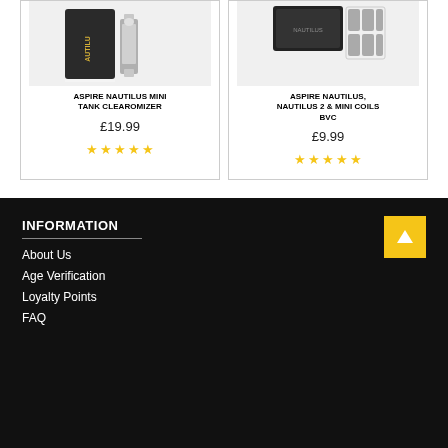[Figure (photo): Aspire Nautilus Mini Tank Clearomizer product photo showing device and box]
ASPIRE NAUTILUS MINI TANK CLEAROMIZER
£19.99
[Figure (other): Five yellow star rating icons]
[Figure (photo): Aspire Nautilus, Nautilus 2 & Mini Coils BVC product photo showing coils and packaging]
ASPIRE NAUTILUS, NAUTILUS 2 & MINI COILS BVC
£9.99
[Figure (other): Five yellow star rating icons]
INFORMATION
About Us
Age Verification
Loyalty Points
FAQ